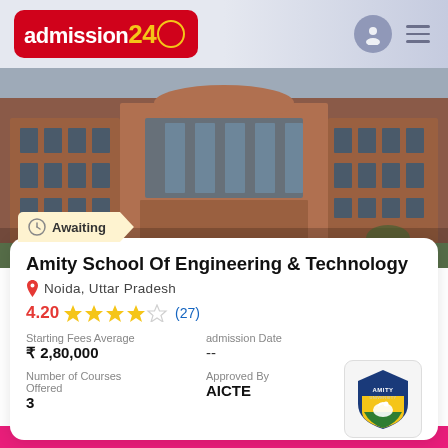admission24
[Figure (photo): Amity School of Engineering & Technology building exterior, red brick architecture with large windows and curved central section]
Awaiting
Amity School Of Engineering & Technology
Noida, Uttar Pradesh
4.20 ★★★★☆ (27)
Starting Fees Average
₹ 2,80,000
admission Date
--
Number of Courses Offered
3
Approved By
AICTE
[Figure (logo): Amity University logo — blue and yellow shield with swan]